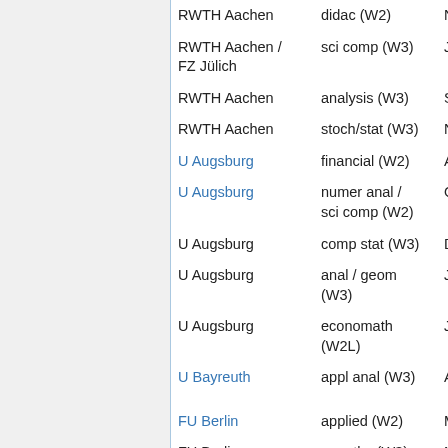| Institution | Field (Level) | Date |
| --- | --- | --- |
| RWTH Aachen | didac (W2) | Nov 30, 2... |
| RWTH Aachen / FZ Jülich | sci comp (W3) | Jul 15, 20... |
| RWTH Aachen | analysis (W3) | Sep 30, 2... |
| RWTH Aachen | stoch/stat (W3) | Nov 16, 2... |
| U Augsburg | financial (W2) | Apr 16, 20... |
| U Augsburg | numer anal / sci comp (W2) | Oct 15, 20... |
| U Augsburg | comp stat (W3) | Dec 15, 2... |
| U Augsburg | anal / geom (W3) | Jun 17, 20... |
| U Augsburg | economath (W2L) | Jun 17, 20... |
| U Bayreuth | appl anal (W3) | Apr 23, 20... |
| FU Berlin | applied (W2) | May 27, 2... |
| FU Berlin | num thy (W3) | Nov 3, 20... |
| FU Berlin | math (W2) | Dec 1, 20... |